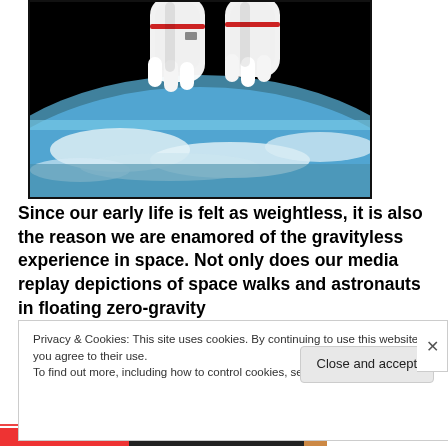[Figure (photo): Photograph of an astronaut in a white spacesuit with gloved hands extended, floating in space above Earth. The lower portion shows Earth's curved horizon with a blue atmospheric glow, white clouds, and ocean visible below against the black of space.]
Since our early life is felt as weightless, it is also the reason we are enamored of the gravityless experience in space. Not only does our media replay depictions of space walks and astronauts in floating zero-gravity
Privacy & Cookies: This site uses cookies. By continuing to use this website, you agree to their use.
To find out more, including how to control cookies, see here: Cookie Policy
Close and accept